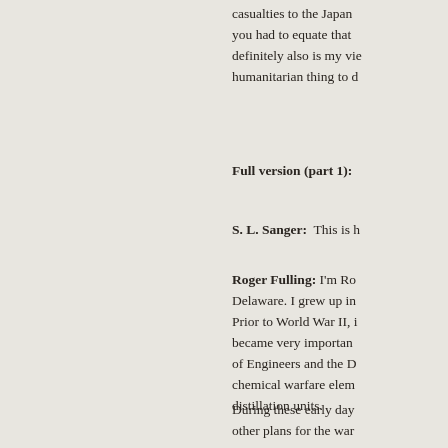casualties to the Japan… you had to equate that… definitely also is my vie… humanitarian thing to d…
Full version (part 1):
S. L. Sanger: This is h…
Roger Fulling: I'm Ro… Delaware. I grew up in… Prior to World War II, i… became very importan… of Engineers and the D… chemical warfare elem… distillation units.
During these early day… other plans for the war…